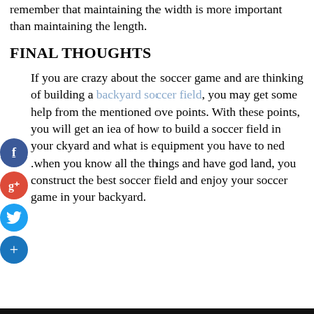remember that maintaining the width is more important than maintaining the length.
FINAL THOUGHTS
If you are crazy about the soccer game and are thinking of building a backyard soccer field, you may get some help from the mentioned above points. With these points, you will get an idea of how to build a soccer field in your backyard and what is equipment you have to need .when you know all the things and have good land, you construct the best soccer field and enjoy your soccer game in your backyard.